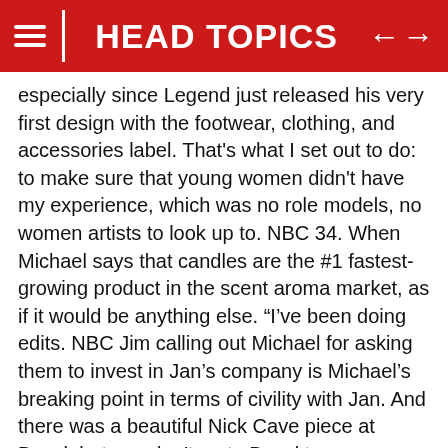HEAD TOPICS
especially since Legend just released his very first design with the footwear, clothing, and accessories label. That's what I set out to do: to make sure that young women didn't have my experience, which was no role models, no women artists to look up to. NBC 34. When Michael says that candles are the #1 fastest-growing product in the scent aroma market, as if it would be anything else. “I’ve been doing edits. NBC Jim calling out Michael for asking them to invest in Jan’s company is Michael’s breaking point in terms of civility with Jan. And there was a beautiful Nick Cave piece at Basel, but you don’t go to Basel to see meaningful art.
35. But we finally decided it’s time to create a John Legend Sperry official collaboration. When Dwight shows up with a date and two wine glasses. NBC 36. With no band or backup singers by his side. Legend